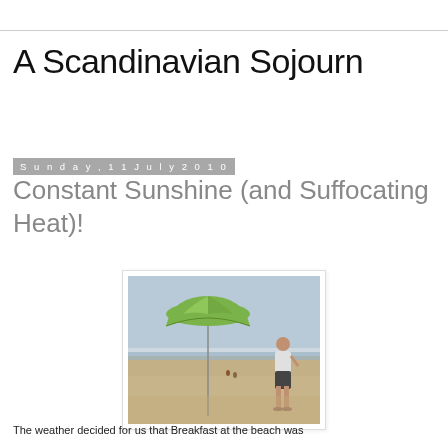A Scandinavian Sojourn
Sunday, 11 July 2010
Constant Sunshine (and Suffocating Heat)!
[Figure (photo): A person standing on a sandy beach next to a green beach umbrella. The sky is light blue and there are other people visible in the background near the water.]
The weather decided for us that Breakfast at the beach was